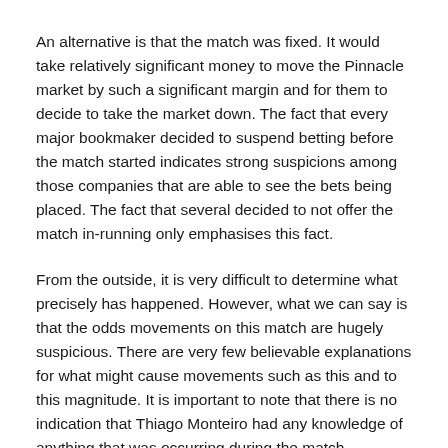An alternative is that the match was fixed. It would take relatively significant money to move the Pinnacle market by such a significant margin and for them to decide to take the market down. The fact that every major bookmaker decided to suspend betting before the match started indicates strong suspicions among those companies that are able to see the bets being placed. The fact that several decided to not offer the match in-running only emphasises this fact.
From the outside, it is very difficult to determine what precisely has happened. However, what we can say is that the odds movements on this match are hugely suspicious. There are very few believable explanations for what might cause movements such as this and to this magnitude. It is important to note that there is no indication that Thiago Monteiro had any knowledge of anything that was occurring during the match. However, while there may be a valid explanation for